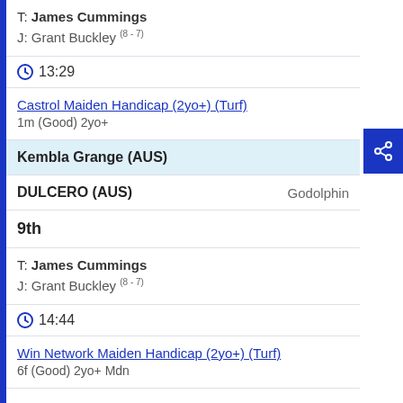T: James Cummings
J: Grant Buckley (8-7)
13:29
Castrol Maiden Handicap (2yo+) (Turf)
1m (Good) 2yo+
Kembla Grange (AUS)
DULCERO (AUS)    Godolphin
9th
T: James Cummings
J: Grant Buckley (8-7)
14:44
Win Network Maiden Handicap (2yo+) (Turf)
6f (Good) 2yo+ Mdn